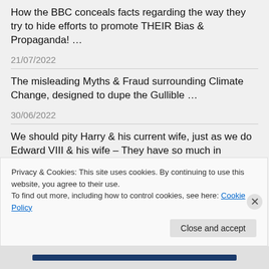How the BBC conceals facts regarding the way they try to hide efforts to promote THEIR Bias & Propaganda! …
21/07/2022
The misleading Myths & Fraud surrounding Climate Change, designed to dupe the Gullible …
30/06/2022
We should pity Harry & his current wife, just as we do Edward VIII & his wife – They have so much in common …
24/06/2022
Will the Climate Change fraud & its ill-informed
Privacy & Cookies: This site uses cookies. By continuing to use this website, you agree to their use.
To find out more, including how to control cookies, see here: Cookie Policy
Close and accept